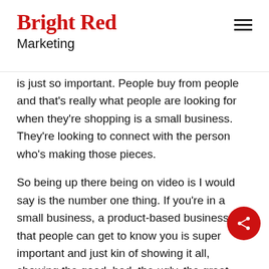Bright Red Marketing
is just so important. People buy from people and that’s really what people are looking for when they’re shopping is a small business. They’re looking to connect with the person who’s making those pieces.
So being up there being on video is I would say is the number one thing. If you’re in a small business, a product-based business so that people can get to know you is super important and just kind of showing it all, showing the good, bad, the ugly, the great days, the times when